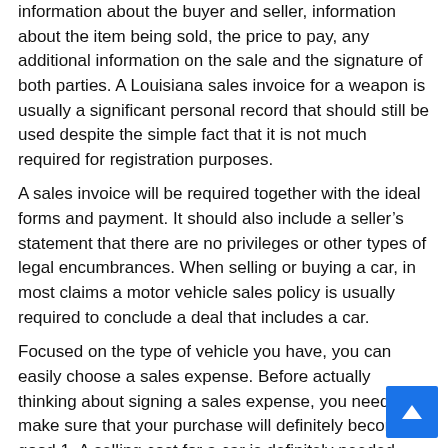information about the buyer and seller, information about the item being sold, the price to pay, any additional information on the sale and the signature of both parties. A Louisiana sales invoice for a weapon is usually a significant personal record that should still be used despite the simple fact that it is not much required for registration purposes.
A sales invoice will be required together with the ideal forms and payment. It should also include a seller's statement that there are no privileges or other types of legal encumbrances. When selling or buying a car, in most claims a motor vehicle sales policy is usually required to conclude a deal that includes a car.
Focused on the type of vehicle you have, you can easily choose a sales expense. Before actually thinking about signing a sales expense, you need to make sure that your purchase will definitely become a good 1. A selling cost for a car is definitely needed when you sell a car or a pickup truck.
A sales expense is essential for the transaction. Finally, he should be authorized by the buyer and seller before a notar should be authorized, finally, and dated. Show that the vehicle